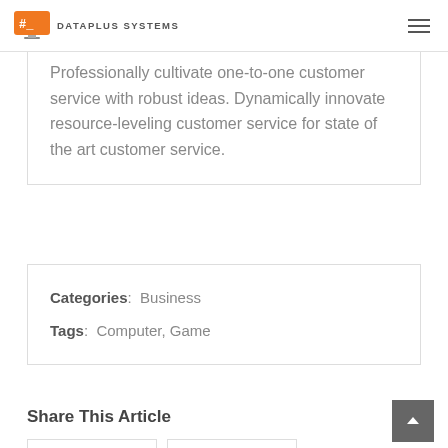DATAPLUS SYSTEMS
Professionally cultivate one-to-one customer service with robust ideas. Dynamically innovate resource-leveling customer service for state of the art customer service.
Categories: Business
Tags: Computer, Game
Share This Article
FACEBOOK  TWITTER